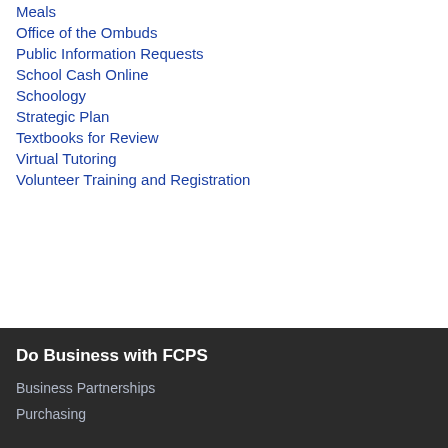Meals
Office of the Ombuds
Public Information Requests
School Cash Online
Schoology
Strategic Plan
Textbooks for Review
Virtual Tutoring
Volunteer Training and Registration
Do Business with FCPS
Business Partnerships
Purchasing